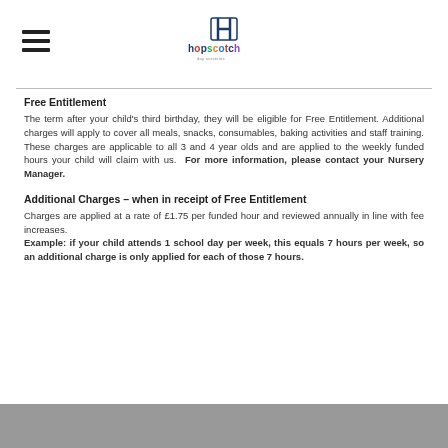[Figure (logo): Hopscotch day nurseries logo with stylized H graphic and colorful text]
Free Entitlement
The term after your child's third birthday, they will be eligible for Free Entitlement. Additional charges will apply to cover all meals, snacks, consumables, baking activities and staff training. These charges are applicable to all 3 and 4 year olds and are applied to the weekly funded hours your child will claim with us. For more information, please contact your Nursery Manager.
Additional Charges – when in receipt of Free Entitlement
Charges are applied at a rate of £1.75 per funded hour and reviewed annually in line with fee increases.
Example: if your child attends 1 school day per week, this equals 7 hours per week, so an additional charge is only applied for each of those 7 hours.